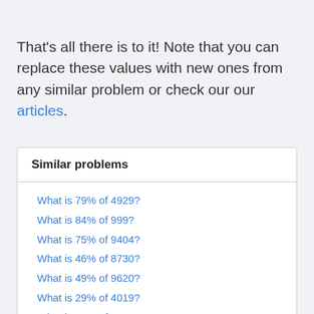That's all there is to it! Note that you can replace these values with new ones from any similar problem or check our our articles.
Similar problems
What is 79% of 4929?
What is 84% of 999?
What is 75% of 9404?
What is 46% of 8730?
What is 49% of 9620?
What is 29% of 4019?
What is 65% of 4945?